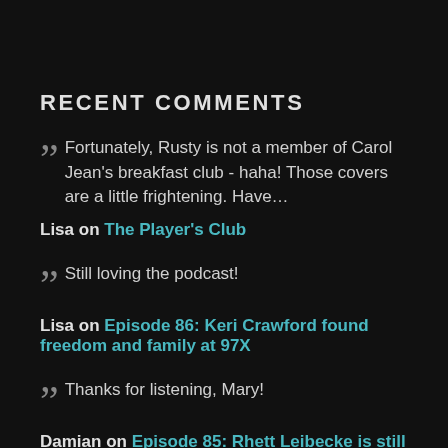RECENT COMMENTS
Fortunately, Rusty is not a member of Carol Jean's breakfast club - haha! Those covers are a little frightening. Have…
Lisa on The Player's Club
Still loving the podcast!
Lisa on Episode 86: Keri Crawford found freedom and family at 97X
Thanks for listening, Mary!
Damian on Episode 85: Rhett Leibecke is still